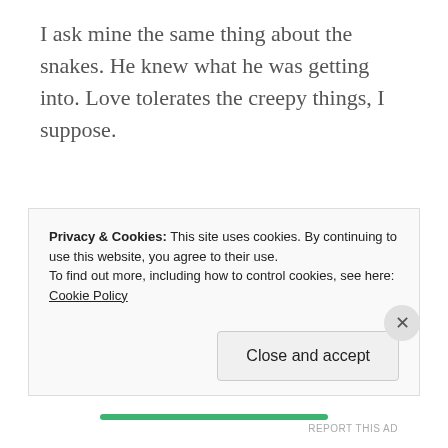I ask mine the same thing about the snakes. He knew what he was getting into. Love tolerates the creepy things, I suppose.
REPLY
[Figure (illustration): Dragonfly woman avatar illustration — a stylized figure with dragonfly wings and antennae]
dragonflywoman
Privacy & Cookies: This site uses cookies. By continuing to use this website, you agree to their use. To find out more, including how to control cookies, see here: Cookie Policy
Close and accept